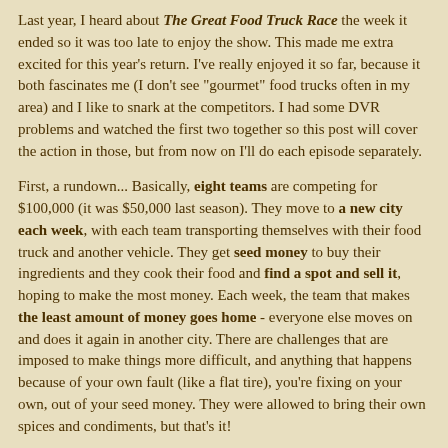Last year, I heard about The Great Food Truck Race the week it ended so it was too late to enjoy the show. This made me extra excited for this year's return. I've really enjoyed it so far, because it both fascinates me (I don't see "gourmet" food trucks often in my area) and I like to snark at the competitors. I had some DVR problems and watched the first two together so this post will cover the action in those, but from now on I'll do each episode separately.
First, a rundown... Basically, eight teams are competing for $100,000 (it was $50,000 last season). They move to a new city each week, with each team transporting themselves with their food truck and another vehicle. They get seed money to buy their ingredients and they cook their food and find a spot and sell it, hoping to make the most money. Each week, the team that makes the least amount of money goes home - everyone else moves on and does it again in another city. There are challenges that are imposed to make things more difficult, and anything that happens because of your own fault (like a flat tire), you're fixing on your own, out of your seed money. They were allowed to bring their own spices and condiments, but that's it!